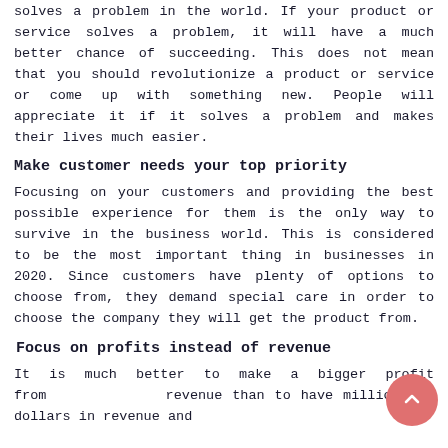solves a problem in the world. If your product or service solves a problem, it will have a much better chance of succeeding. This does not mean that you should revolutionize a product or service or come up with something new. People will appreciate it if it solves a problem and makes their lives much easier.
Make customer needs your top priority
Focusing on your customers and providing the best possible experience for them is the only way to survive in the business world. This is considered to be the most important thing in businesses in 2020. Since customers have plenty of options to choose from, they demand special care in order to choose the company they will get the product from.
Focus on profits instead of revenue
It is much better to make a bigger profit from revenue than to have millions of dollars in revenue and